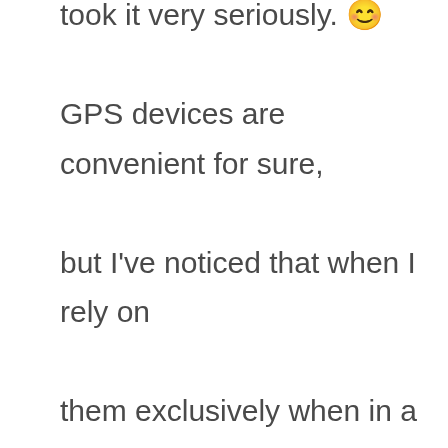took it very seriously. 😊 GPS devices are convenient for sure, but I've noticed that when I rely on them exclusively when in a new city, I never actually KNOW where I am in that city, regardless how long I'm there. Seeing my location in a 4 inch square never gives me enough perspective to internalize the layout of the area and keeping me handcuffed to the GPS device forever